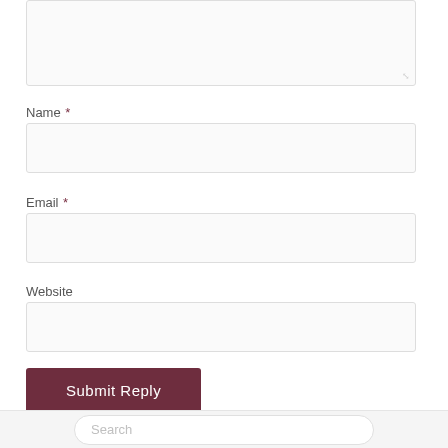[textarea input box at top]
Name *
[Name input field]
Email *
[Email input field]
Website
[Website input field]
Submit Reply
Search